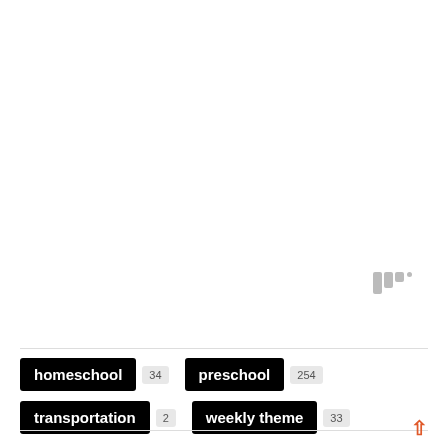[Figure (logo): Three vertical bars of decreasing height with a small dot, resembling a bar chart logo icon in gray]
homeschool 34
preschool 254
transportation 2
weekly theme 33